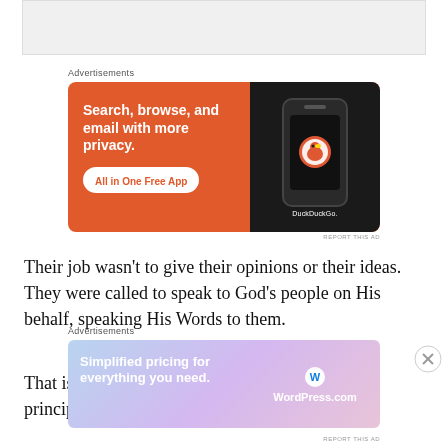[Figure (screenshot): Grey placeholder box at top of page, partial content area]
Advertisements
[Figure (screenshot): DuckDuckGo advertisement banner on orange background: 'Search, browse, and email with more privacy. All in One Free App' with phone showing DuckDuckGo logo]
REPORT THIS AD
Their job wasn't to give their opinions or their ideas. They were called to speak to God's people on His behalf, speaking His Words to them.
That is also what Jesus said was a guiding principle
Advertisements
[Figure (screenshot): WordPress.com advertisement banner with gradient background: 'Simplified pricing for everything you need.' with WordPress.com logo]
REPORT THIS AD